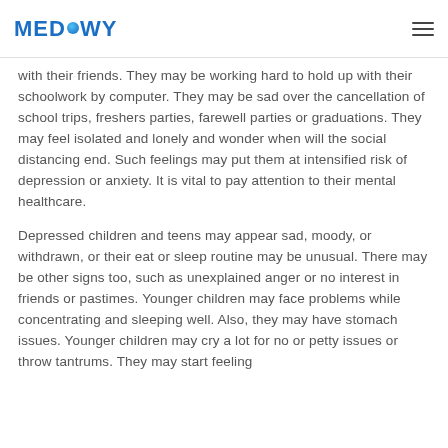MEDOWY
with their friends. They may be working hard to hold up with their schoolwork by computer. They may be sad over the cancellation of school trips, freshers parties, farewell parties or graduations. They may feel isolated and lonely and wonder when will the social distancing end. Such feelings may put them at intensified risk of depression or anxiety. It is vital to pay attention to their mental healthcare.
Depressed children and teens may appear sad, moody, or withdrawn, or their eat or sleep routine may be unusual. There may be other signs too, such as unexplained anger or no interest in friends or pastimes. Younger children may face problems while concentrating and sleeping well. Also, they may have stomach issues. Younger children may cry a lot for no or petty issues or throw tantrums. They may start feeling